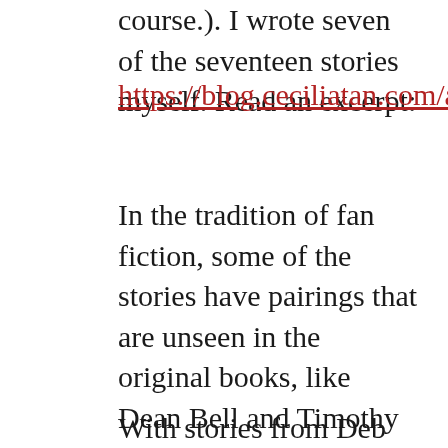course.). I wrote seven of the seventeen stories myself. Read an excerpt:
https://blog.ceciliatan.com/archives/2389
In the tradition of fan fiction, some of the stories have pairings that are unseen in the original books, like Dean Bell and Timothy Frost, or Kyle and Alex. Others explore canonical couples who just don't get much screen time in the book series. One of my stories reveals how Frost and Michael Candlin started dating and what their first sex was like. Learn more of the tangled history between Master Brandish and Dean Bell, too!
With stories from Deb Atwood, Lauren P.